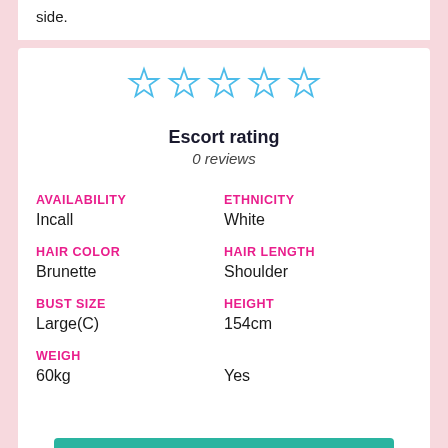side.
[Figure (other): Five empty star rating icons in blue outline]
Escort rating
0 reviews
AVAILABILITY
Incall
ETHNICITY
White
HAIR COLOR
Brunette
HAIR LENGTH
Shoulder
BUST SIZE
Large(C)
HEIGHT
154cm
WEIGH
60kg
Yes
Click WhatsApp +971569604300